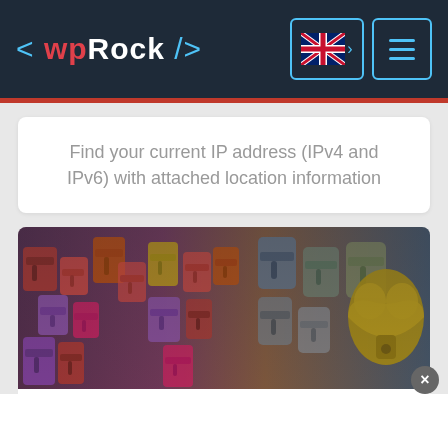< wpRock />
Find your current IP address (IPv4 and IPv6) with attached location information
[Figure (photo): A close-up photograph of many colorful padlocks of various sizes and shapes attached to a surface, ranging from red, pink, and purple on the left to metallic grey and gold heart-shaped locks on the right]
🔒 Secure random passwords